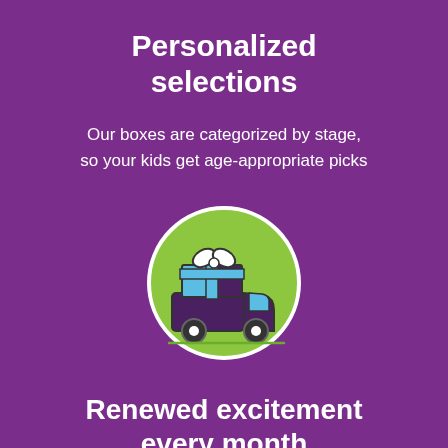Personalized selections
Our boxes are categorized by stage, so your kids get age-appropriate picks
[Figure (illustration): A delivery truck icon with a gift box on top, displayed inside a green circle on a purple background. The gift box has a blue ribbon and the truck is dark purple/navy outline style.]
Renewed excitement every month